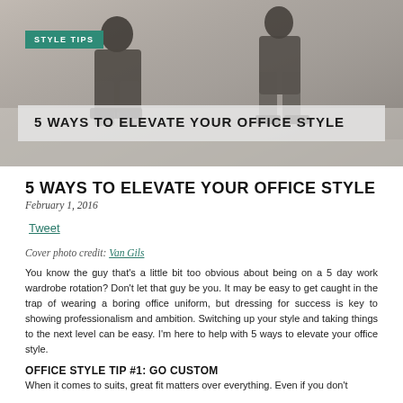[Figure (photo): Hero banner image showing men in office attire seated, with a teal 'STYLE TIPS' badge and a semi-transparent overlay box containing the title '5 WAYS TO ELEVATE YOUR OFFICE STYLE']
5 WAYS TO ELEVATE YOUR OFFICE STYLE
February 1, 2016
Tweet
Cover photo credit: Van Gils
You know the guy that's a little bit too obvious about being on a 5 day work wardrobe rotation? Don't let that guy be you. It may be easy to get caught in the trap of wearing a boring office uniform, but dressing for success is key to showing professionalism and ambition. Switching up your style and taking things to the next level can be easy. I'm here to help with 5 ways to elevate your office style.
OFFICE STYLE TIP #1: GO CUSTOM
When it comes to suits, great fit matters over everything. Even if you don't